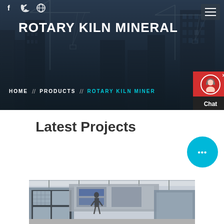[Figure (photo): Hero banner with dark blue-tinted construction site background showing cranes and skyscrapers]
ROTARY KILN MINERAL
HOME // PRODUCTS // ROTARY KILN MINER
Latest Projects
[Figure (photo): Industrial mineral processing equipment — vibrating screen or conveyor machinery in a factory setting]